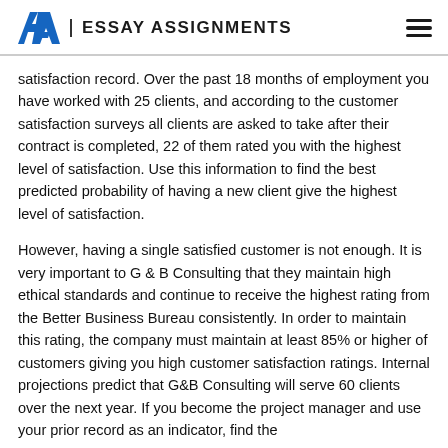EA | ESSAY ASSIGNMENTS
satisfaction record. Over the past 18 months of employment you have worked with 25 clients, and according to the customer satisfaction surveys all clients are asked to take after their contract is completed, 22 of them rated you with the highest level of satisfaction. Use this information to find the best predicted probability of having a new client give the highest level of satisfaction.
However, having a single satisfied customer is not enough. It is very important to G & B Consulting that they maintain high ethical standards and continue to receive the highest rating from the Better Business Bureau consistently. In order to maintain this rating, the company must maintain at least 85% or higher of customers giving you high customer satisfaction ratings. Internal projections predict that G&B Consulting will serve 60 clients over the next year. If you become the project manager and use your prior record as an indicator, find the